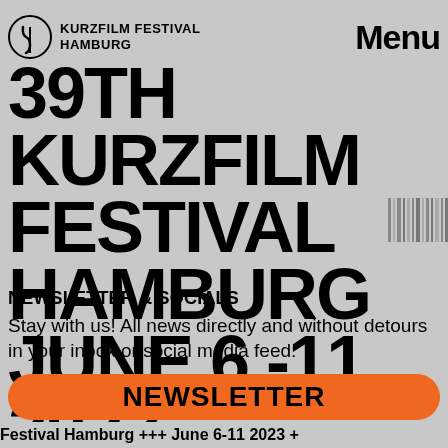KURZFILM FESTIVAL HAMBURG   Menu
39TH KURZFILM FESTIVAL HAMBURG JUNE 6 -11 2023
[Figure (other): Barcode graphic on right side of title area]
NEWSLETTER & SOCIALS
Stay with us! All news directly and without detours in your inbox or social media feed:
NEWSLETTER
INSTAGRAM
Festival Hamburg +++ June 6-11 2023 +